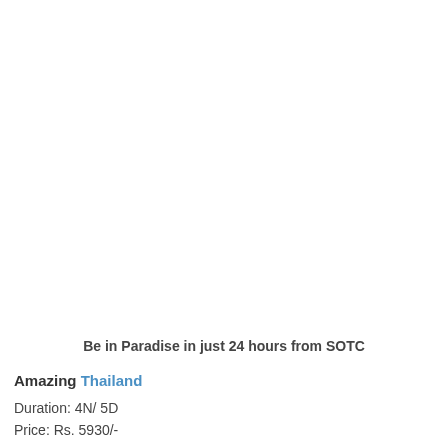Be in Paradise in just 24 hours from SOTC
Amazing Thailand
Duration: 4N/ 5D
Price: Rs. 5930/-